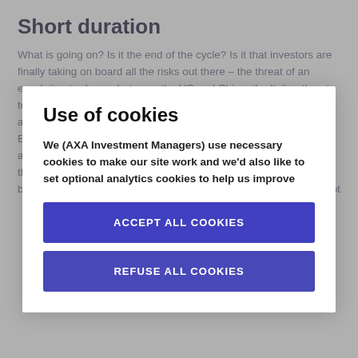Short duration
What is going on? Is it the end of the cycle? Is it that investors are finally taking on board all the risks out there – the threat of an escalating trade war between the US and China, the Italian threat to EU financial stability, and the risk of the UK being jettisoned into a WTO world? Yes, it is all of those things weighing on sentiment. But more than that, we are in a world of quantitative tightening and a world where the best of corporate earnings growth is probably in the past. It doesn't matter that – in aggregate – global central bank balance sheets are not shrinking but it does matter that they are not
Use of cookies
We (AXA Investment Managers) use necessary cookies to make our site work and we'd also like to set optional analytics cookies to help us improve